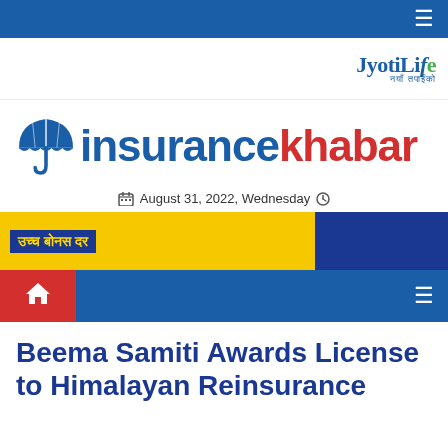≡
[Figure (logo): JyotiLife logo with text in blue and green, Nepali tagline below]
[Figure (logo): insurancekhabar logo with blue umbrella icon, 'insurance' in blue bold, 'khabar' in red bold]
August 31, 2022, Wednesday
[Figure (infographic): Yellow and dark blue banner with Nepali text 'उच्च बोनस दर' in dark blue label on yellow background]
🏠  ≡
Beema Samiti Awards License to Himalayan Reinsurance